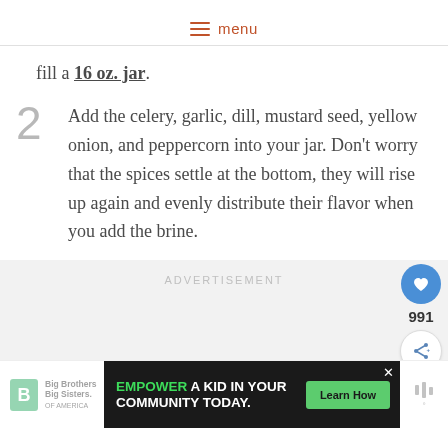menu
fill a 16 oz. jar.
2 Add the celery, garlic, dill, mustard seed, yellow onion, and peppercorn into your jar. Don't worry that the spices settle at the bottom, they will rise up again and evenly distribute their flavor when you add the brine.
[Figure (other): Advertisement placeholder area with ADVERTISEMENT label and floating action buttons: heart/save (991 saves) and share]
[Figure (other): Bottom banner advertisement: Big Brothers Big Sisters logo on left, dark ad block with text EMPOWER A KID IN YOUR COMMUNITY TODAY. and Learn How button, logo on right]